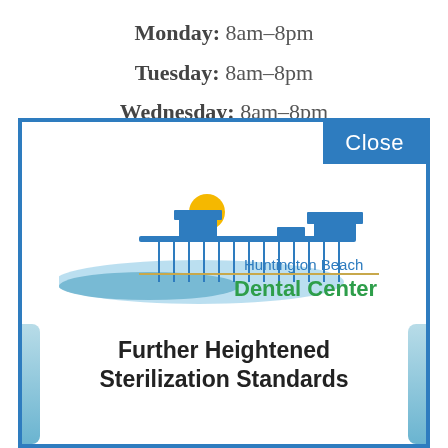Monday: 8am–8pm
Tuesday: 8am–8pm
Wednesday: 8am–8pm
[Figure (logo): Huntington Beach Dental Center logo with pier silhouette and sun illustration]
Further Heightened Sterilization Standards